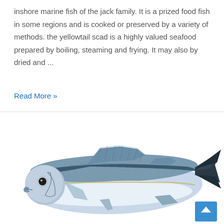inshore marine fish of the jack family. It is a prized food fish in some regions and is cooked or preserved by a variety of methods. the yellowtail scad is a highly valued seafood prepared by boiling, steaming and frying. It may also by dried and ...
Read More »
[Figure (photo): A photograph of a yellowtail scad fish (mackerel-like) on a white background, shown in profile facing left. The fish has a silvery-white belly, darker greenish-blue back with faint striping, a forked tail with dark tips, and visible eye and fins. A blue scroll-to-top button appears in the lower right corner.]